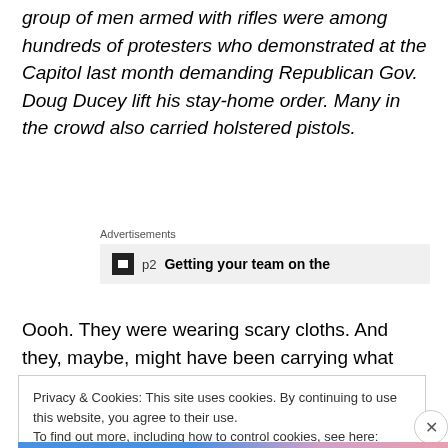group of men armed with rifles were among hundreds of protesters who demonstrated at the Capitol last month demanding Republican Gov. Doug Ducey lift his stay-home order. Many in the crowd also carried holstered pistols.
[Figure (other): Advertisement banner with icon, 'p2' label, and bold text 'Getting your team on the']
Oooh. They were wearing scary cloths. And they, maybe, might have been carrying what sort of looks like,
Privacy & Cookies: This site uses cookies. By continuing to use this website, you agree to their use.
To find out more, including how to control cookies, see here: Cookie Policy
Close and accept